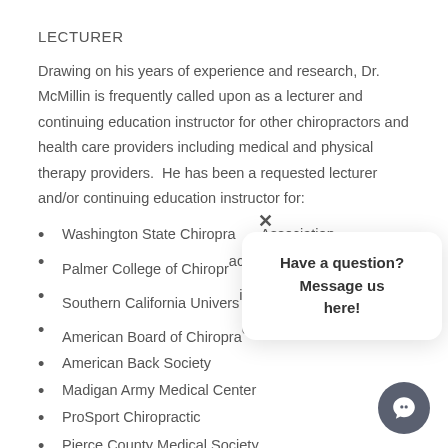LECTURER
Drawing on his years of experience and research, Dr. McMillin is frequently called upon as a lecturer and continuing education instructor for other chiropractors and health care providers including medical and physical therapy providers.  He has been a requested lecturer and/or continuing education instructor for:
Washington State Chiropractic Association
Palmer College of Chiropractic
Southern California University
American Board of Chiropractic
American Back Society
Madigan Army Medical Center
ProSport Chiropractic
Pierce County Medical Society.